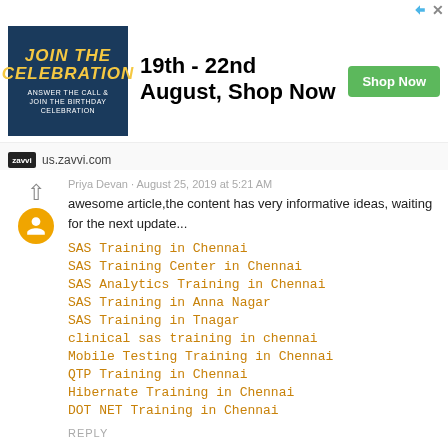[Figure (other): Advertisement banner for us.zavvi.com: '19th - 22nd August, Shop Now' with green Shop Now button and dark blue decorative image with gold 'JOIN THE CELEBRATION' text.]
awesome article,the content has very informative ideas, waiting for the next update...
SAS Training in Chennai
SAS Training Center in Chennai
SAS Analytics Training in Chennai
SAS Training in Anna Nagar
SAS Training in Tnagar
clinical sas training in chennai
Mobile Testing Training in Chennai
QTP Training in Chennai
Hibernate Training in Chennai
DOT NET Training in Chennai
REPLY
Patell Priya  August 31, 2019 at 6:49 AM
Good post and great approach. I am pleased to visit and very useful articles here. I hope you